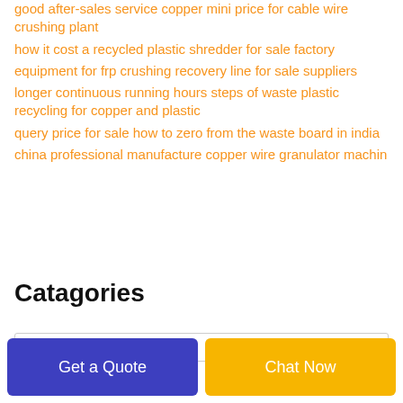good after-sales service copper mini price for cable wire crushing plant
how it cost a recycled plastic shredder for sale factory
equipment for frp crushing recovery line for sale suppliers
longer continuous running hours steps of waste plastic recycling for copper and plastic
query price for sale how to zero from the waste board in india
china professional manufacture copper wire granulator machin
Catagories
Get a Quote
Chat Now